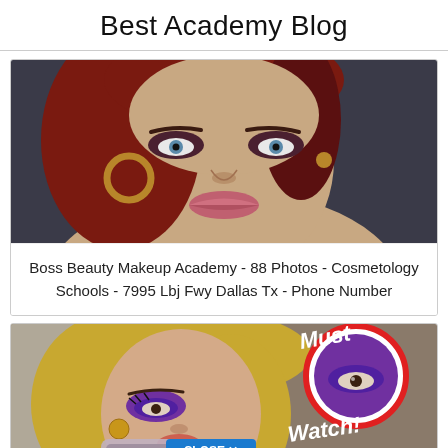Best Academy Blog
[Figure (photo): Close-up portrait of a woman with red hair, blue eyes, hoop earrings, wearing makeup including dark eye shadow and pink lipstick, on a dark background.]
Boss Beauty Makeup Academy - 88 Photos - Cosmetology Schools - 7995 Lbj Fwy Dallas Tx - Phone Number
[Figure (photo): YouTube thumbnail featuring a woman with blonde hair and bold purple eye makeup, with text 'Must Watch!' and a red circle highlighting an eye, and a blue 'CLOSE X' button overlay.]